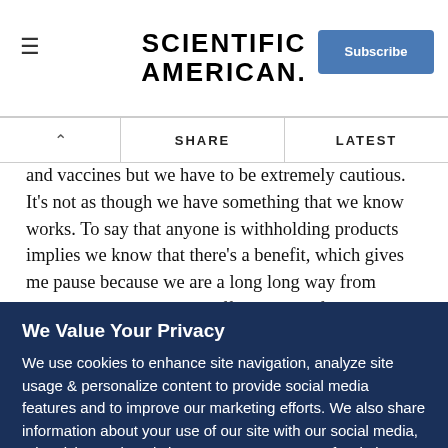SCIENTIFIC AMERICAN
and vaccines but we have to be extremely cautious. It's not as though we have something that we know works. To say that anyone is withholding products implies we know that there's a benefit, which gives me pause because we are a long long way from demonstrating that these offer any benefit in humans.
Is there anything you would like to add about insights you learned from your Ebola patient care?
We Value Your Privacy
We use cookies to enhance site navigation, analyze site usage & personalize content to provide social media features and to improve our marketing efforts. We also share information about your use of our site with our social media, advertising and analytics partners. To opt out of website cookies or otherwise manage your cookie settings, click on Cookie Settings. View O...